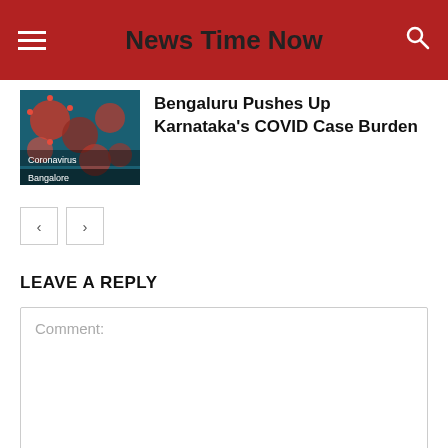News Time Now
[Figure (photo): Thumbnail image of coronavirus particles on dark teal background with 'Coronavirus' label overlay and 'Bangalore' label at bottom]
Bengaluru Pushes Up Karnataka's COVID Case Burden
LEAVE A REPLY